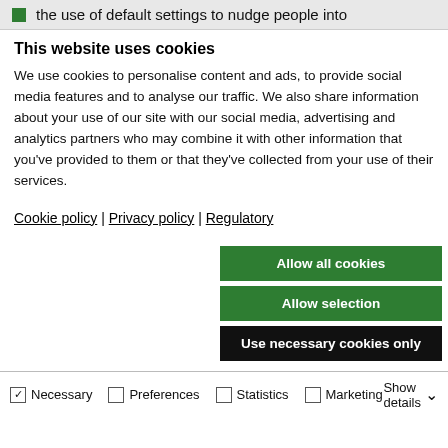the use of default settings to nudge people into
This website uses cookies
We use cookies to personalise content and ads, to provide social media features and to analyse our traffic. We also share information about your use of our site with our social media, advertising and analytics partners who may combine it with other information that you've provided to them or that they've collected from your use of their services.
Cookie policy | Privacy policy | Regulatory
Allow all cookies
Allow selection
Use necessary cookies only
Necessary  Preferences  Statistics  Marketing  Show details